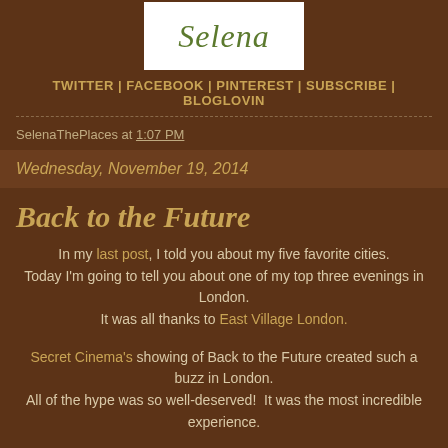[Figure (logo): Selena blog logo in white box with olive/green script font]
TWITTER | FACEBOOK | PINTEREST | SUBSCRIBE | BLOGLOVIN
SelenaThePlaces at 1:07 PM
Wednesday, November 19, 2014
Back to the Future
In my last post, I told you about my five favorite cities. Today I'm going to tell you about one of my top three evenings in London. It was all thanks to East Village London.
Secret Cinema's showing of Back to the Future created such a buzz in London. All of the hype was so well-deserved!  It was the most incredible experience.